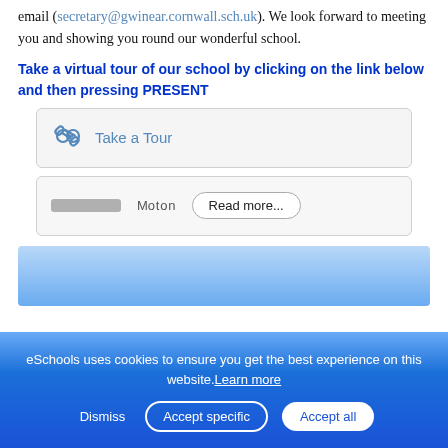email (secretary@gwinear.cornwall.sch.uk). We look forward to meeting you and showing you round our wonderful school.
Take a virtual tour of our school by clicking on the link below and then pressing PRESENT
[Figure (screenshot): A UI box with a chain-link icon and the text 'Take a Tour' in blue, styled as a clickable link element on a light grey background with a border.]
[Figure (screenshot): A UI element with a blurred/redacted label and a 'Read more...' button with rounded border.]
[Figure (screenshot): A blue gradient image preview section at the bottom of the page content area.]
eSchools uses cookies to ensure you get the best experience on this website. Learn more
Dismiss   Accept specific   Accept all